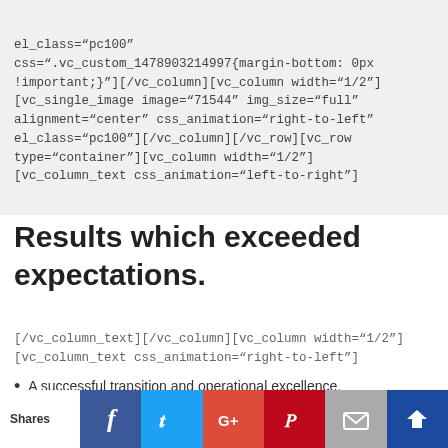BACK TO TOP
el_class="pc100" css=".vc_custom_1478903214997{margin-bottom: 0px !important;}"][/vc_column][vc_column width="1/2"] [vc_single_image image="71544" img_size="full" alignment="center" css_animation="right-to-left" el_class="pc100"][/vc_column][/vc_row][vc_row type="container"][vc_column width="1/2"] [vc_column_text css_animation="left-to-right"]
Results which exceeded expectations.
[/vc_column_text][/vc_column][vc_column width="1/2"] [vc_column_text css_animation="right-to-left"]
A successful transition and operational excellence.
Completed one of most successful transitions in
Shares | Facebook | Twitter | Google+ | Pinterest | Email | Crown